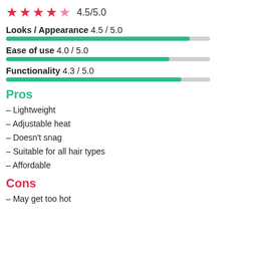[Figure (other): 4.5 out of 5 stars rating with star icons and text '4.5/5.0']
Looks / Appearance 4.5 / 5.0
[Figure (other): Progress bar for Looks/Appearance at 90% fill (4.5/5.0)]
Ease of use 4.0 / 5.0
[Figure (other): Progress bar for Ease of use at 80% fill (4.0/5.0)]
Functionality 4.3 / 5.0
[Figure (other): Progress bar for Functionality at 86% fill (4.3/5.0)]
Pros
– Lightweight
– Adjustable heat
– Doesn't snag
– Suitable for all hair types
– Affordable
Cons
– May get too hot